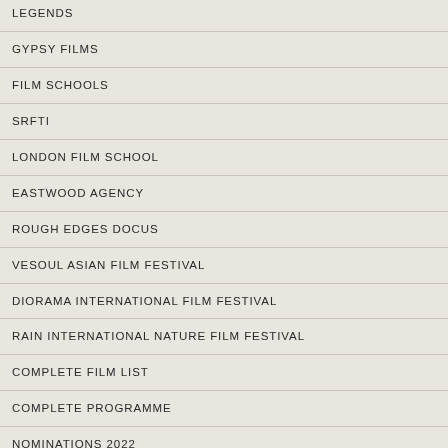LEGENDS
GYPSY FILMS
FILM SCHOOLS
SRFTI
LONDON FILM SCHOOL
EASTWOOD AGENCY
ROUGH EDGES DOCUS
VESOUL ASIAN FILM FESTIVAL
DIORAMA INTERNATIONAL FILM FESTIVAL
RAIN INTERNATIONAL NATURE FILM FESTIVAL
COMPLETE FILM LIST
COMPLETE PROGRAMME
NOMINATIONS 2022